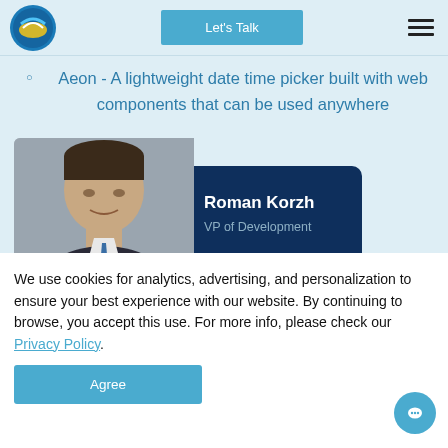Let's Talk
Aeon - A lightweight date time picker built with web components that can be used anywhere
[Figure (photo): Profile photo of Roman Korzh, VP of Development, shown on a dark navy background card]
We use cookies for analytics, advertising, and personalization to ensure your best experience with our website. By continuing to browse, you accept this use. For more info, please check our Privacy Policy.
Agree